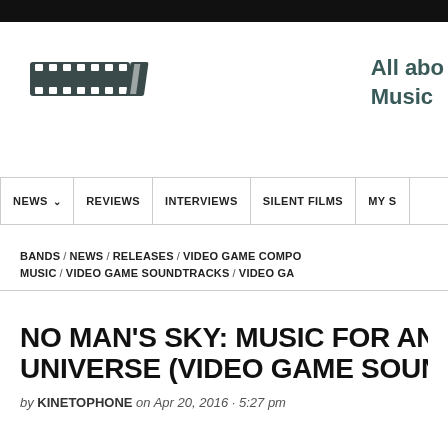All about Music
[Figure (logo): Film strip / clapperboard logo icon in dark gray]
NEWS | REVIEWS | INTERVIEWS | SILENT FILMS | MY S
BANDS / NEWS / RELEASES / VIDEO GAME COMPO MUSIC / VIDEO GAME SOUNDTRACKS / VIDEO GA
NO MAN'S SKY: MUSIC FOR AN UNIVERSE (Video Game Sound
by KINETOPHONE on Apr 20, 2016 · 5:27 pm